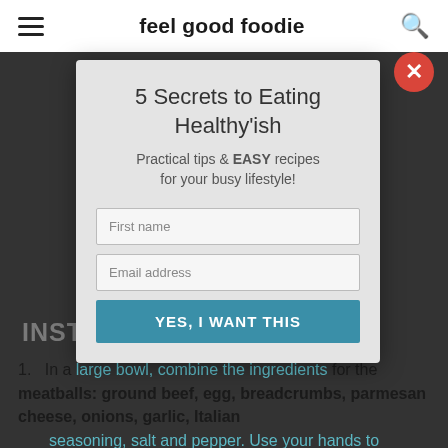feel good foodie
[Figure (screenshot): Modal popup overlay on feel good foodie website with email signup form titled '5 Secrets to Eating Healthy'ish']
5 Secrets to Eating Healthy'ish
Practical tips & EASY recipes for your busy lifestyle!
INSTRUCTIONS
In a large bowl, combine the ingredients for the meatballs: ground beef, egg, breadcrumbs, parmesan cheese, onions, garlic, Italian seasoning, salt and pepper. Use your hands to combine the ingredients together until they're